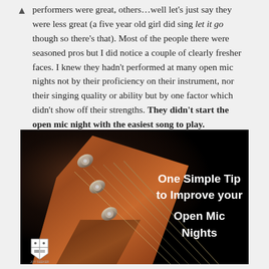performers were great, others…well let's just say they were less great (a five year old girl did sing let it go though so there's that). Most of the people there were seasoned pros but I did notice a couple of clearly fresher faces. I knew they hadn't performed at many open mic nights not by their proficiency on their instrument, nor their singing quality or ability but by one factor which didn't show off their strengths. They didn't start the open mic night with the easiest song to play.
[Figure (illustration): Guitar headstock close-up on dark background with text overlay: 'One Simple Tip to Improve your Open Mic Nights' with a small shield/crest logo in the bottom left corner]